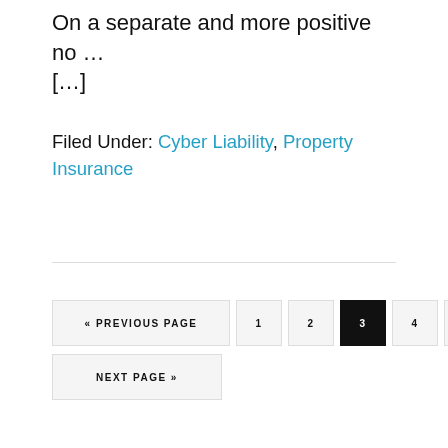On a separate and more positive no … […]
Filed Under: Cyber Liability, Property Insurance
« PREVIOUS PAGE  1  2  3  4  5  …  10  NEXT PAGE »